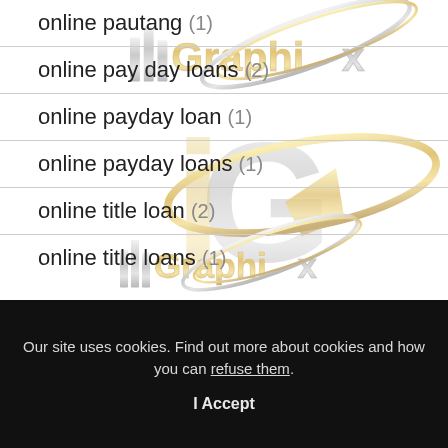online pautang (1)
online pay day loans (2)
online payday loan (1)
online payday loans (1)
online title loan (2)
online title loans (1)
[Figure (logo): iGraphix watermark logo repeated three times overlapping, gold and silver metallic text and icon]
Our site uses cookies. Find out more about cookies and how you can refuse them.
I Accept